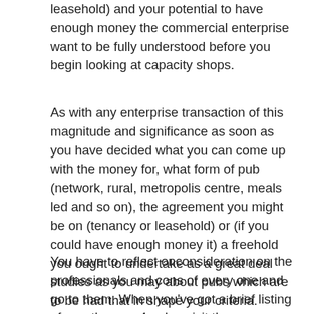leasehold) and your potential to have enough money the commercial enterprise want to be fully understood before you begin looking at capacity shops.
As with any enterprise transaction of this magnitude and significance as soon as you have decided what you can come up with the money for, what form of pub (network, rural, metropolis centre, meals led and so on), the agreement you might be on (tenancy or leasehold) or (if you could have enough money it) a freehold you ought to undertake as a great deal studies as you may about pubs which are to be had that in shape your criteria.
You have to reflect onconsideration on the professionals and cons of every one and go to them. When you've got a brief listing of say, three or 4 pubs, visit them on numerous events at distinctive times of the day and specific instances of the week. This will help you apprehend the kind of customers, the trading